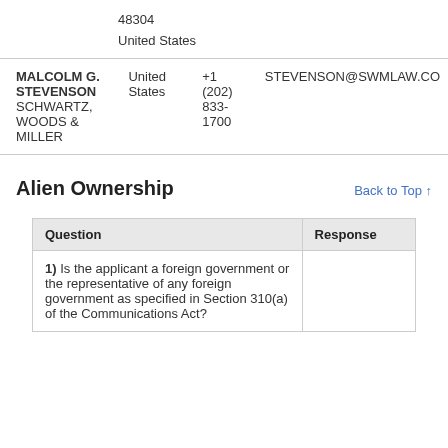48304
United States
| Name/Organization | Country | Phone | Email |
| --- | --- | --- | --- |
| MALCOLM G. STEVENSON
SCHWARTZ, WOODS & MILLER | United States | +1 (202) 833-1700 | STEVENSON@SWMLAW.CO |
Alien Ownership
Back to Top ↑
| Question | Response |
| --- | --- |
| 1) Is the applicant a foreign government or the representative of any foreign government as specified in Section 310(a) of the Communications Act? |  |